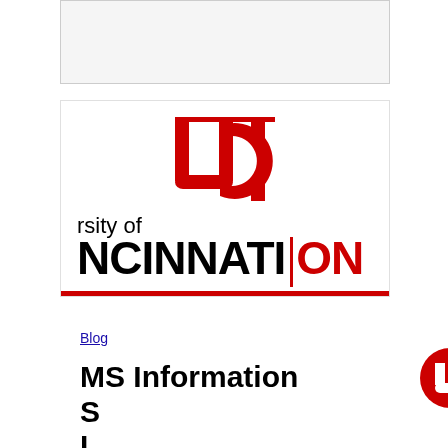[Figure (other): Blank/gray image placeholder area at top of page]
[Figure (logo): University of Cincinnati Online logo with UC monogram in red, 'rsity of' text, 'NCINNATI' in large black bold letters, '|ON' in red, and red horizontal bar below]
Blog
MS Information Systems Technology — Which
[Figure (screenshot): Chatbot popup overlay with close button (x), speech bubble saying 'Welcome to UC Online. What can we help you with today?' and UC red circular icon on the right]